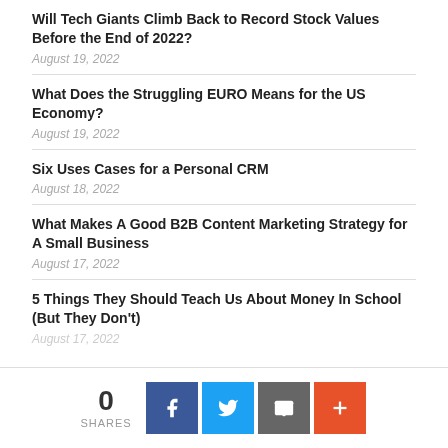Will Tech Giants Climb Back to Record Stock Values Before the End of 2022?
August 19, 2022
What Does the Struggling EURO Means for the US Economy?
August 19, 2022
Six Uses Cases for a Personal CRM
August 18, 2022
What Makes A Good B2B Content Marketing Strategy for A Small Business
August 17, 2022
5 Things They Should Teach Us About Money In School (But They Don't)
August 17, 2022
0 SHARES